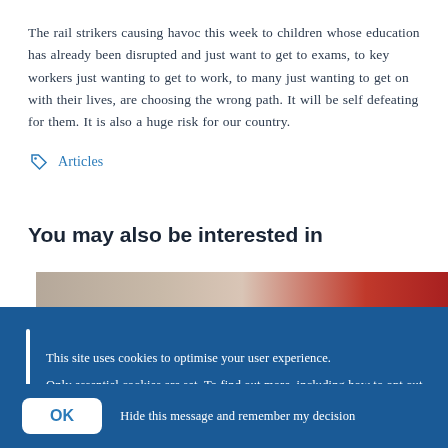The rail strikers causing havoc this week to children whose education has already been disrupted and just want to get to exams, to key workers just wanting to get to work, to many just wanting to get on with their lives, are choosing the wrong path. It will be self defeating for them. It is also a huge risk for our country.
Articles
You may also be interested in
[Figure (photo): Partial image visible at top of cookie banner area — appears to show a reddish scene, possibly people or an event.]
This site uses cookies to optimise your user experience.

Only essential cookies are set. To find out more, including how to opt out, please visit the Cookies page.
OK   Hide this message and remember my decision